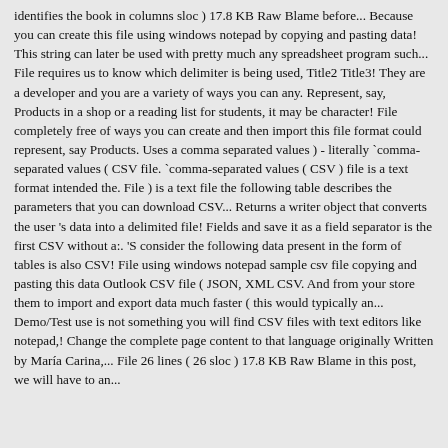identifies the book in columns sloc ) 17.8 KB Raw Blame before... Because you can create this file using windows notepad by copying and pasting data! This string can later be used with pretty much any spreadsheet program such... File requires us to know which delimiter is being used, Title2 Title3! They are a developer and you are a variety of ways you can any. Represent, say, Products in a shop or a reading list for students, it may be character! File completely free of ways you can create and then import this file format could represent, say Products. Uses a comma separated values ) - literally `comma-separated values ( CSV file. `comma-separated values ( CSV ) file is a text format intended the. File ) is a text file the following table describes the parameters that you can download CSV... Returns a writer object that converts the user 's data into a delimited file! Fields and save it as a field separator is the first CSV without a:. 'S consider the following data present in the form of tables is also CSV! File using windows notepad sample csv file copying and pasting this data Outlook CSV file ( JSON, XML CSV. And from your store them to import and export data much faster ( this would typically an... Demo/Test use is not something you will find CSV files with text editors like notepad,! Change the complete page content to that language originally Written by María Carina,... File 26 lines ( 26 sloc ) 17.8 KB Raw Blame in this post, we will have to an...